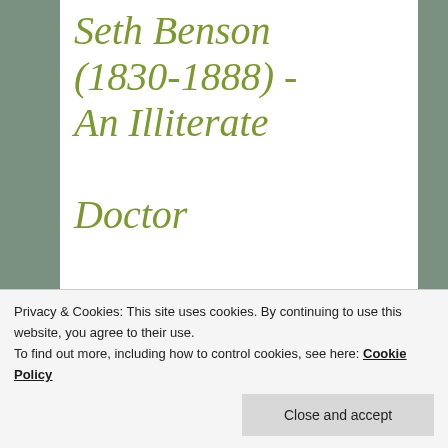Seth Benson (1830-1888) - An Illiterate Doctor
Posted on February 11, 2018
After a lengthy break (thank you, gentle readers, for your patience), I'm back with a look at the life of the enigmatic, 39-year-old, American-born Thomas S.
Privacy & Cookies: This site uses cookies. By continuing to use this website, you agree to their use.
To find out more, including how to control cookies, see here: Cookie Policy
In addition to the memorable enumerator's note, "Quack!